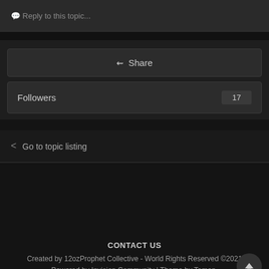Reply to this topic...
Share
Followers  17
Go to topic listing
CONTACT US
Created by 12ozProphet Collective - World Rights Reserved ©2021
Powered by Invision Community | Theme by Taman.